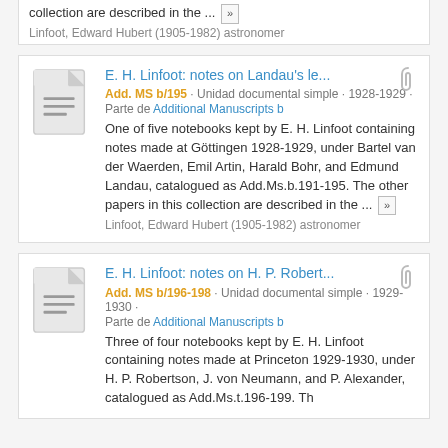collection are described in the ... »
Linfoot, Edward Hubert (1905-1982) astronomer
E. H. Linfoot: notes on Landau's le...
Add. MS b/195 · Unidad documental simple · 1928-1929 ·
Parte de Additional Manuscripts b
One of five notebooks kept by E. H. Linfoot containing notes made at Göttingen 1928-1929, under Bartel van der Waerden, Emil Artin, Harald Bohr, and Edmund Landau, catalogued as Add.Ms.b.191-195. The other papers in this collection are described in the ... »
Linfoot, Edward Hubert (1905-1982) astronomer
E. H. Linfoot: notes on H. P. Robert...
Add. MS b/196-198 · Unidad documental simple · 1929-1930 ·
Parte de Additional Manuscripts b
Three of four notebooks kept by E. H. Linfoot containing notes made at Princeton 1929-1930, under H. P. Robertson, J. von Neumann, and P. Alexander, catalogued as Add.Ms.t.196-199. Th